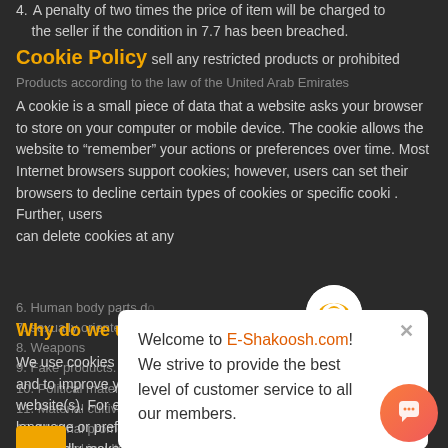4. A penalty of two times the price of item will be charged to the seller if the condition in 7.7 has been breached.
5. Cookie Policy
Products according to the law of the United Arab Emirates
A cookie is a small piece of data that a website asks your browser to store on your computer or mobile device. The cookie allows the website to "remember" your actions or preferences over time. Most Internet browsers support cookies; however, users can set their browsers to decline certain types of cookies or specific cookies. Further, users can delete cookies at any
Why do we use coo
We use cookies to learn and to improve your experience website(s). For example, language or preferences so that you do not have to repeatedly make these choices when you visit one of websites.
6. Human body parts do
7. sexually oriented boo
8. Weapons
9. Fake products. Bur
10. Political material
11. Material cultivating religi
12. Material promoting religi
13. Material insulting political symbols
14. Human trafficking
not exhaustive and only includes some of the
Welcome to E-Shakoosh.com! We strive to provide the best level of customer service to all our members.